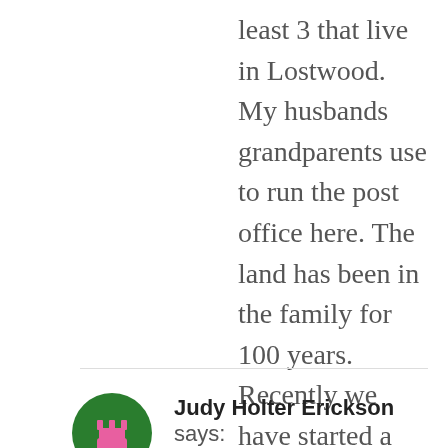least 3 that live in Lostwood. My husbands grandparents use to run the post office here. The land has been in the family for 100 years. Recently we have started a business in Lostwood, Lostwood Media as well. It is a beautiful place to live. The cemetery is along our property.
★ Like
REPLY
Judy Holter Erickson says:
OCTOBER 31, 2013 AT 6:51 PM